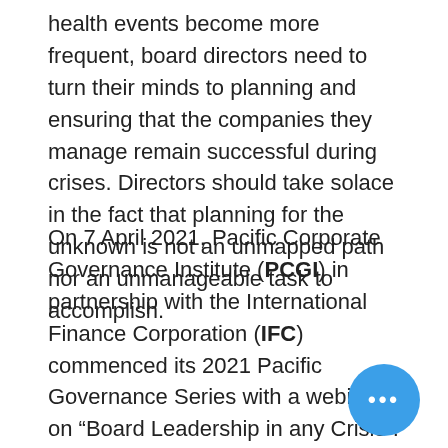health events become more frequent, board directors need to turn their minds to planning and ensuring that the companies they manage remain successful during crises. Directors should take solace in the fact that planning for the unknown is not an unmapped path nor an unmanageable task to accomplish.
On 7 April 2021, Pacific Corporate Governance Institute (PCGI) in partnership with the International Finance Corporation (IFC) commenced its 2021 Pacific Governance Series with a webinar on “Board Leadership in any Crisis”. The webinar shed light on directors are responsible for crisis risk mitigation and what they can do to